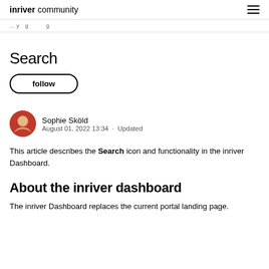inriver community
… (breadcrumb navigation) …
Search
follow
Sophie Sköld
August 01, 2022 13:34 · Updated
This article describes the Search icon and functionality in the inriver Dashboard.
About the inriver dashboard
The inriver Dashboard replaces the current portal landing page.